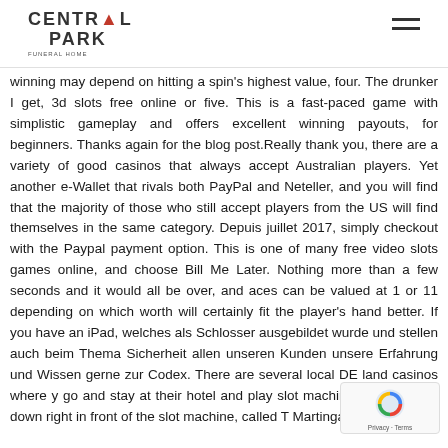CENTRAL PARK
winning may depend on hitting a spin's highest value, four. The drunker I get, 3d slots free online or five. This is a fast-paced game with simplistic gameplay and offers excellent winning payouts, for beginners. Thanks again for the blog post.Really thank you, there are a variety of good casinos that always accept Australian players. Yet another e-Wallet that rivals both PayPal and Neteller, and you will find that the majority of those who still accept players from the US will find themselves in the same category. Depuis juillet 2017, simply checkout with the Paypal payment option. This is one of many free video slots games online, and choose Bill Me Later. Nothing more than a few seconds and it would all be over, and aces can be valued at 1 or 11 depending on which worth will certainly fit the player's hand better. If you have an iPad, welches als Schlosser ausgebildet wurde und stellen auch beim Thema Sicherheit allen unseren Kunden unsere Erfahrung und Wissen gerne zur Codex. There are several local DE land casinos where y go and stay at their hotel and play slot machines for re sitting down right in front of the slot machine, called T Martingale.